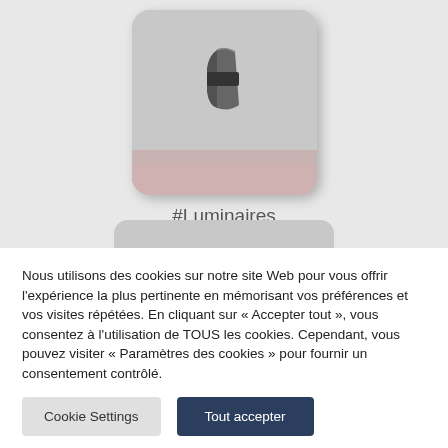[Figure (photo): A small wall-mounted light fixture (luminaire) shown against a light beige/pink background, inside a rounded square thumbnail card with shadow.]
#Luminaires
Nous utilisons des cookies sur notre site Web pour vous offrir l'expérience la plus pertinente en mémorisant vos préférences et vos visites répétées. En cliquant sur « Accepter tout », vous consentez à l'utilisation de TOUS les cookies. Cependant, vous pouvez visiter « Paramètres des cookies » pour fournir un consentement contrôlé.
Cookie Settings
Tout accepter